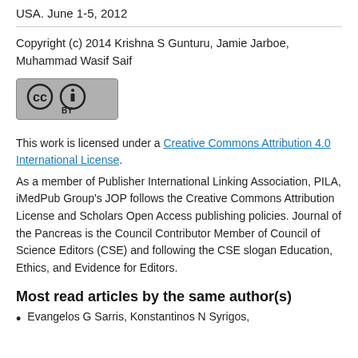USA. June 1-5, 2012
Copyright (c) 2014 Krishna S Gunturu, Jamie Jarboe, Muhammad Wasif Saif
[Figure (logo): Creative Commons BY license badge - grey rectangular badge with CC and person icons and BY text]
This work is licensed under a Creative Commons Attribution 4.0 International License.
As a member of Publisher International Linking Association, PILA, iMedPub Group's JOP follows the Creative Commons Attribution License and Scholars Open Access publishing policies. Journal of the Pancreas is the Council Contributor Member of Council of Science Editors (CSE) and following the CSE slogan Education, Ethics, and Evidence for Editors.
Most read articles by the same author(s)
Evangelos G Sarris, Konstantinos N Syrigos,